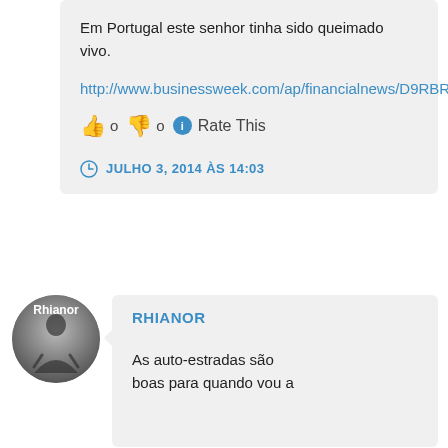Em Portugal este senhor tinha sido queimado vivo.
http://www.businessweek.com/ap/financialnews/D9RBR9TO1.htm
👍 0 👎 0 ℹ Rate This
JULHO 3, 2014 ÀS 14:03
RHIANOR
As auto-estradas são boas para quando vou a